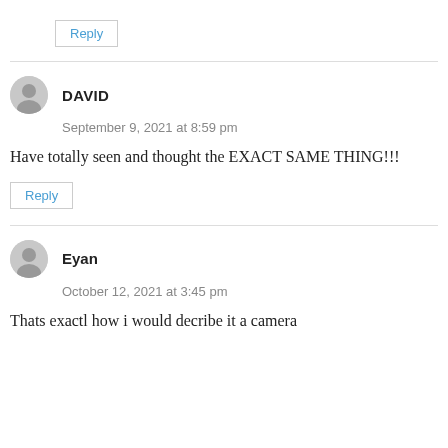Reply
DAVID
September 9, 2021 at 8:59 pm
Have totally seen and thought the EXACT SAME THING!!!
Reply
Eyan
October 12, 2021 at 3:45 pm
Thats exactl how i would decribe it a camera